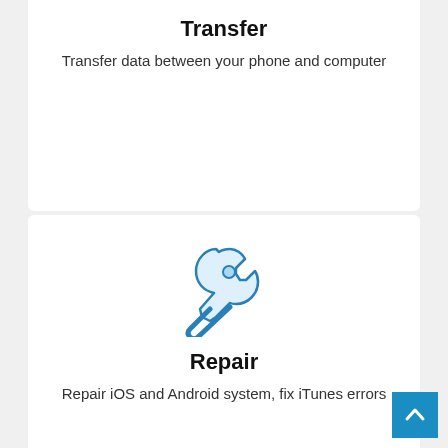Transfer
Transfer data between your phone and computer
[Figure (illustration): Wrench/repair icon in blue outline with light blue fill]
Repair
Repair iOS and Android system, fix iTunes errors
[Figure (illustration): Copy/duplicate files icon in blue outline]